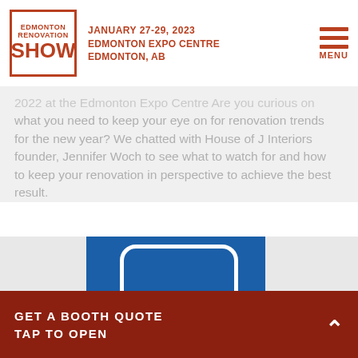JANUARY 27-29, 2023 EDMONTON EXPO CENTRE EDMONTON, AB
2022 at the Edmonton Expo Centre Are you curious on what you need to keep your eye on for renovation trends for the new year? We chatted with House of J Interiors founder, Jennifer Woch to see what to watch for and how to keep your renovation in perspective to achieve the best result.
READ MORE
[Figure (photo): Partial view of a blue door or panel with white rounded arch shape at top, against a grey background]
GET A BOOTH QUOTE TAP TO OPEN